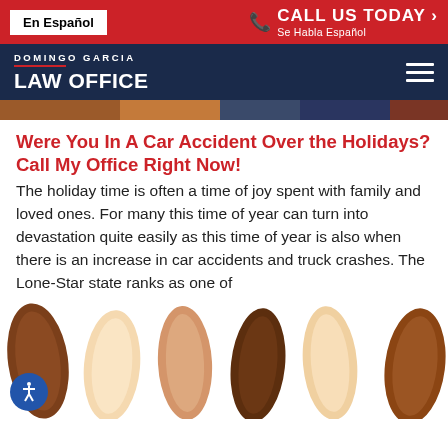En Español | CALL US TODAY > Se Habla Español
[Figure (logo): Domingo Garcia Law Office logo on navy background with hamburger menu]
[Figure (photo): Hero banner strip showing partial car accident scene]
Were You In A Car Accident Over the Holidays? Call My Office Right Now!
The holiday time is often a time of joy spent with family and loved ones. For many this time of year can turn into devastation quite easily as this time of year is also when there is an increase in car accidents and truck crashes. The Lone-Star state ranks as one of
[Figure (illustration): Illustration of multiple arms of different skin tones side by side]